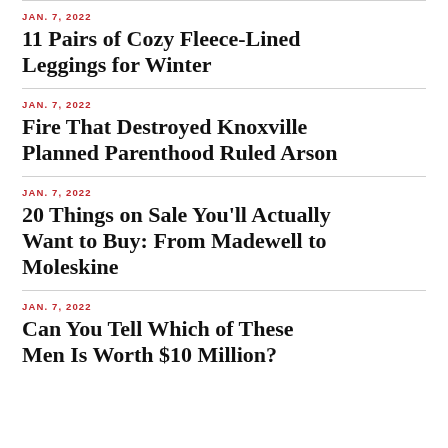JAN. 7, 2022
11 Pairs of Cozy Fleece-Lined Leggings for Winter
JAN. 7, 2022
Fire That Destroyed Knoxville Planned Parenthood Ruled Arson
JAN. 7, 2022
20 Things on Sale You'll Actually Want to Buy: From Madewell to Moleskine
JAN. 7, 2022
Can You Tell Which of These Men Is Worth $10 Million?